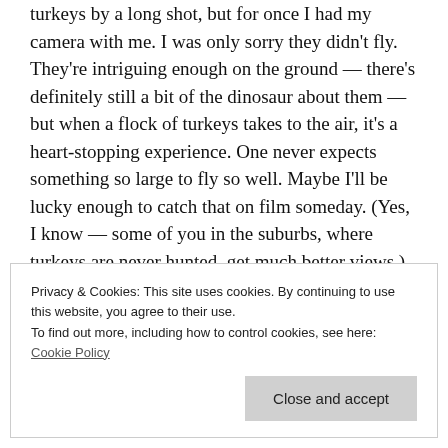turkeys by a long shot, but for once I had my camera with me. I was only sorry they didn't fly. They're intriguing enough on the ground — there's definitely still a bit of the dinosaur about them — but when a flock of turkeys takes to the air, it's a heart-stopping experience. One never expects something so large to fly so well. Maybe I'll be lucky enough to catch that on film someday. (Yes, I know — some of you in the suburbs, where turkeys are never hunted, get much better views.)
Privacy & Cookies: This site uses cookies. By continuing to use this website, you agree to their use.
To find out more, including how to control cookies, see here: Cookie Policy
Close and accept